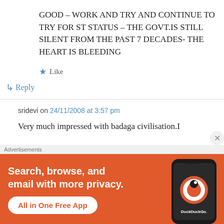GOOD – WORK AND TRY AND CONTINUE TO TRY FOR ST STATUS – THE GOVT.IS STILL SILENT FROM THE PAST 7 DECADES- THE HEART IS BLEEDING
★ Like
↳ Reply
sridevi on 24/11/2008 at 3:57 pm
Very much impressed with badaga civilisation.I
Advertisements
[Figure (infographic): DuckDuckGo advertisement banner: orange background with text 'Search, browse, and email with more privacy. All in One Free App' and a phone mockup showing the DuckDuckGo logo on the right.]